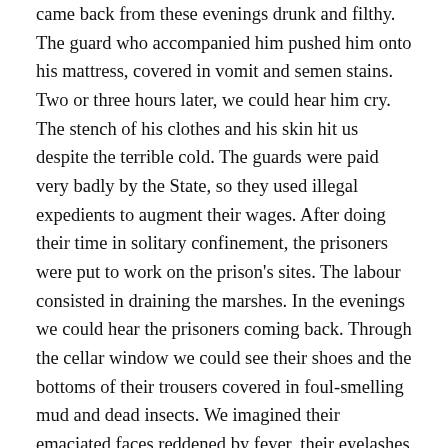came back from these evenings drunk and filthy. The guard who accompanied him pushed him onto his mattress, covered in vomit and semen stains. Two or three hours later, we could hear him cry. The stench of his clothes and his skin hit us despite the terrible cold. The guards were paid very badly by the State, so they used illegal expedients to augment their wages. After doing their time in solitary confinement, the prisoners were put to work on the prison's sites. The labour consisted in draining the marshes. In the evenings we could hear the prisoners coming back. Through the cellar window we could see their shoes and the bottoms of their trousers covered in foul-smelling mud and dead insects. We imagined their emaciated faces reddened by fever, their eyelashes and beards caked with sweat and black mud, their eyes and the corners of their mouths seething with midges and maggots; their phalanxes with slugs.The guards then made the most of the confusion and the rarity of the roll-call to pull the prisoners they had chosen from the lines. They were to hire them out to peasants or builders. First the prisoner thought he was saved